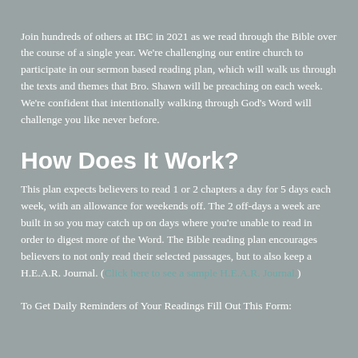Join hundreds of others at IBC in 2021 as we read through the Bible over the course of a single year. We're challenging our entire church to participate in our sermon based reading plan, which will walk us through the texts and themes that Bro. Shawn will be preaching on each week. We're confident that intentionally walking through God's Word will challenge you like never before.
How Does It Work?
This plan expects believers to read 1 or 2 chapters a day for 5 days each week, with an allowance for weekends off. The 2 off-days a week are built in so you may catch up on days where you're unable to read in order to digest more of the Word. The Bible reading plan encourages believers to not only read their selected passages, but to also keep a H.E.A.R. Journal. (Click here to see a sample H.E.A.R. Journal.)
To Get Daily Reminders of Your Readings Fill Out This Form: